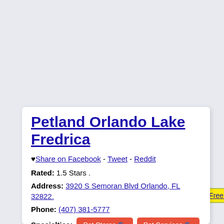Add or Update Your Free Business Listing
Petland Orlando Lake Fredrica
♥ Share on Facebook - Tweet - Reddit
Rated: 1.5 Stars .
Address: 3920 S Semoran Blvd Orlando, FL 32822.
Phone: (407) 381-5777
Specialties: Pet Stores 🐾  Pet Services 🐾 .